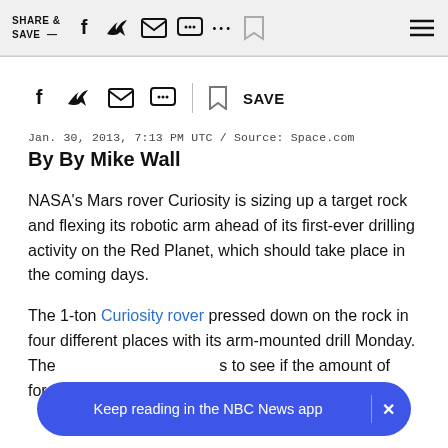SHARE & SAVE —  [social icons]  [hamburger menu]
[social share icons: facebook, twitter, email, message, dots, bookmark] SAVE
Jan. 30, 2013, 7:13 PM UTC / Source: Space.com
By By Mike Wall
NASA's Mars rover Curiosity is sizing up a target rock and flexing its robotic arm ahead of its first-ever drilling activity on the Red Planet, which should take place in the coming days.
The 1-ton Curiosity rover pressed down on the rock in four different places with its arm-mounted drill Monday. These [obscured] to see if the amount of force applied matches predictions,
Keep reading in the NBC News app  ×